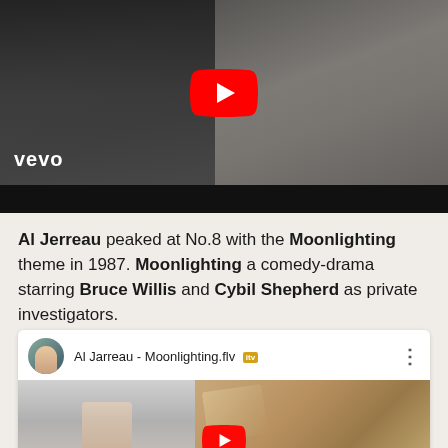[Figure (screenshot): YouTube/Vevo music video thumbnail showing two young men in dark setting with Vevo logo in bottom left and YouTube play button in center]
Al Jerreau peaked at No.8 with the Moonlighting theme in 1987. Moonlighting a comedy-drama starring Bruce Willis and Cybil Shepherd as private investigators.
[Figure (screenshot): YouTube video thumbnail for 'Al Jarreau - Moonlighting.flv' showing a user avatar, video title, TV badge, and a scene from the music video]